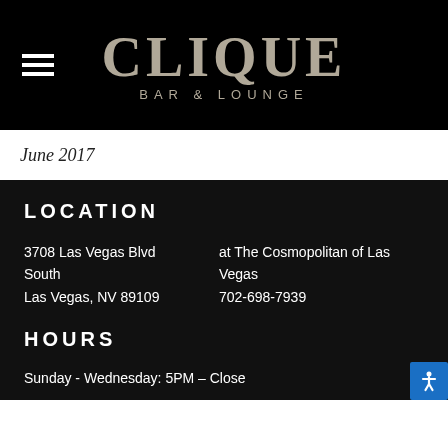[Figure (logo): Clique Bar & Lounge logo in large serif text on black background with hamburger menu icon]
June 2017
LOCATION
3708 Las Vegas Blvd South  at The Cosmopolitan of Las Vegas
Las Vegas, NV 89109  702-698-7939
HOURS
Sunday - Wednesday: 5PM – Close